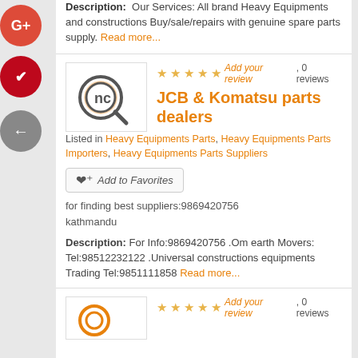Description: Our Services: All brand Heavy Equipments and constructions Buy/sale/repairs with genuine spare parts supply. Read more...
[Figure (logo): nc magnifying glass logo]
★★★★★ Add your review, 0 reviews
JCB & Komatsu parts dealers
Listed in Heavy Equipments Parts, Heavy Equipments Parts Importers, Heavy Equipments Parts Suppliers
[Figure (other): Add to Favorites button with heart icon]
for finding best suppliers:9869420756
kathmandu
Description: For Info:9869420756 .Om earth Movers: Tel:98512232122 .Universal constructions equipments Trading Tel:9851111858 Read more...
[Figure (logo): nc orange logo partial (bottom card)]
★★★★★ Add your review, 0 reviews